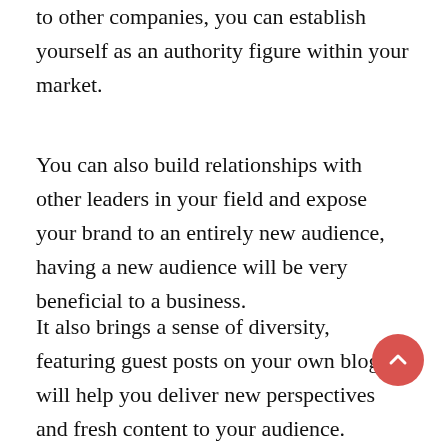to other companies, you can establish yourself as an authority figure within your market.
You can also build relationships with other leaders in your field and expose your brand to an entirely new audience, having a new audience will be very beneficial to a business.
It also brings a sense of diversity, featuring guest posts on your own blog will help you deliver new perspectives and fresh content to your audience. Featuring guest posts is a great way to keep readers engaged, not to mention the